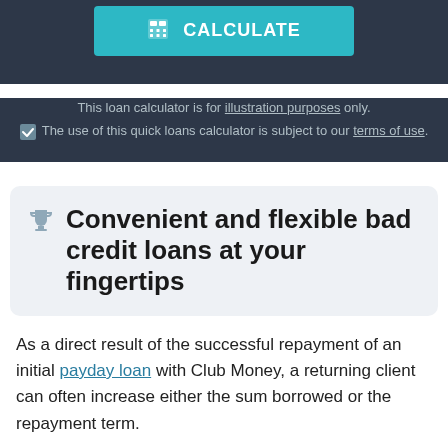[Figure (other): Teal CALCULATE button with calculator icon]
This loan calculator is for illustration purposes only.
✓ The use of this quick loans calculator is subject to our terms of use.
🏆 Convenient and flexible bad credit loans at your fingertips
As a direct result of the successful repayment of an initial payday loan with Club Money, a returning client can often increase either the sum borrowed or the repayment term.
Get more next time around
Ultimately, while the same criteria will apply - a solid bank